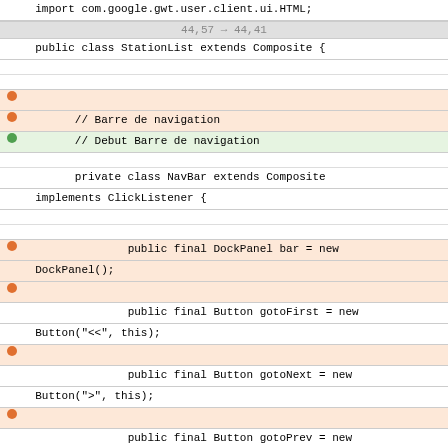import com.google.gwt.user.client.ui.HTML;
44,57 → 44,41
public class StationList extends Composite {
// Barre de navigation
// Debut Barre de navigation
private class NavBar extends Composite implements ClickListener {
public final DockPanel bar = new DockPanel();
public final Button gotoFirst = new Button("&lt;&lt;", this);
public final Button gotoNext = new Button("&gt;", this);
public final Button gotoPrev = new Button("&lt;", this);